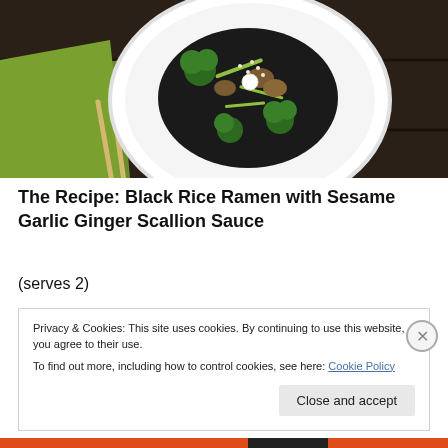[Figure (photo): Overhead view of a white bowl containing Black Rice Ramen with vegetables including broccoli, scallions, mushrooms and sesame seeds, placed on a dark wooden surface with a green napkin and chopsticks.]
The Recipe: Black Rice Ramen with Sesame Garlic Ginger Scallion Sauce
(serves 2)
Privacy & Cookies: This site uses cookies. By continuing to use this website, you agree to their use.
To find out more, including how to control cookies, see here: Cookie Policy